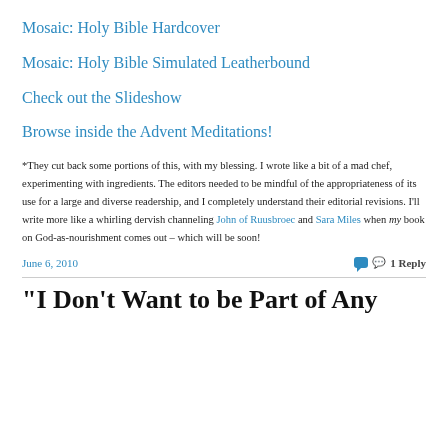Mosaic: Holy Bible Hardcover
Mosaic: Holy Bible Simulated Leatherbound
Check out the Slideshow
Browse inside the Advent Meditations!
*They cut back some portions of this, with my blessing. I wrote like a bit of a mad chef, experimenting with ingredients. The editors needed to be mindful of the appropriateness of its use for a large and diverse readership, and I completely understand their editorial revisions. I'll write more like a whirling dervish channeling John of Ruusbroec and Sara Miles when my book on God-as-nourishment comes out – which will be soon!
June 6, 2010
1 Reply
“I Don’t Want to be Part of Any